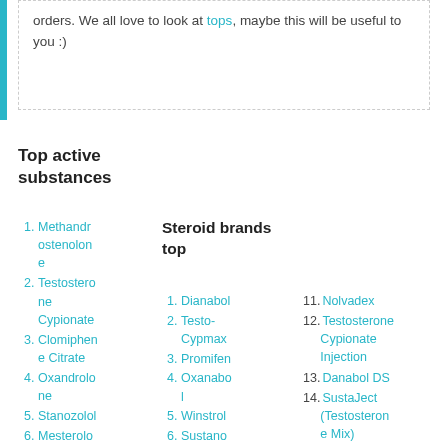orders. We all love to look at tops, maybe this will be useful to you :)
Top active substances
1. Methandrostenolone
2. Testosterone Cypionate
3. Clomiphene Citrate
4. Oxandrolone
5. Stanozolol
6. Mesterolone
7. Testostero
Steroid brands top
1. Dianabol
2. Testo-Cypmax
3. Promifen
4. Oxanabol
5. Winstrol
6. Sustanon 250
7. Equipoise 250
11. Nolvadex
12. Testosterone Cypionate Injection
13. Danabol DS
14. SustaJect (Testosterone Mix)
15. Undestor Testocaps
16. Androlic